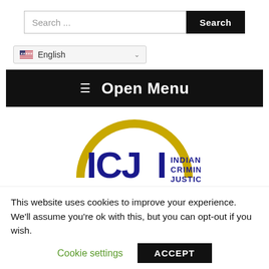[Figure (screenshot): Search bar with text input and Search button]
[Figure (screenshot): Language selector dropdown showing US flag and English]
[Figure (screenshot): Black navigation bar with hamburger icon and Open Menu text]
[Figure (logo): Indiana Criminal Justice Institute logo with gold arc and blue ICJI letters]
This website uses cookies to improve your experience. We'll assume you're ok with this, but you can opt-out if you wish.
Cookie settings | ACCEPT